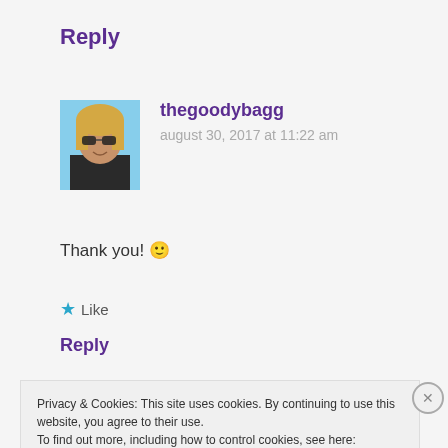Reply
[Figure (photo): Avatar photo of a woman with blonde hair and sunglasses, smiling outdoors]
thegoodybagg
august 30, 2017 at 11:22 am
Thank you! 🙂
★ Like
Reply
Privacy & Cookies: This site uses cookies. By continuing to use this website, you agree to their use.
To find out more, including how to control cookies, see here:
Cookie Policy
Close and accept